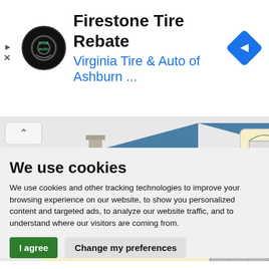[Figure (screenshot): Advertisement banner for Firestone Tire Rebate by Virginia Tire & Auto of Ashburn with circular logo and blue diamond arrow icon]
[Figure (illustration): Partial illustration of a suburban house with blue roof, cream/yellow siding, dark blue shutters, and large garage door]
We use cookies
We use cookies and other tracking technologies to improve your browsing experience on our website, to show you personalized content and targeted ads, to analyze our website traffic, and to understand where our visitors are coming from.
I agree | Change my preferences